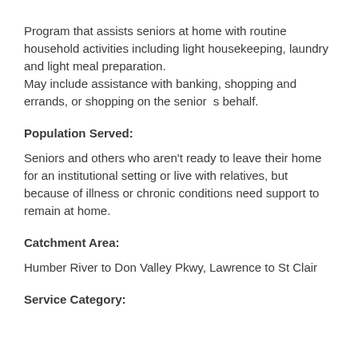Program that assists seniors at home with routine household activities including light housekeeping, laundry and light meal preparation.
May include assistance with banking, shopping and errands, or shopping on the senior’s behalf.
Population Served:
Seniors and others who aren’t ready to leave their home for an institutional setting or live with relatives, but because of illness or chronic conditions need support to remain at home.
Catchment Area:
Humber River to Don Valley Pkwy, Lawrence to St Clair
Service Category: